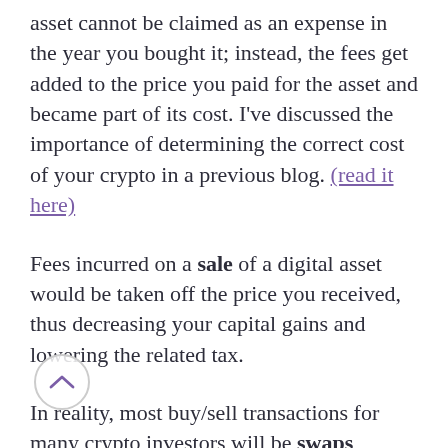asset cannot be claimed as an expense in the year you bought it; instead, the fees get added to the price you paid for the asset and became part of its cost. I've discussed the importance of determining the correct cost of your crypto in a previous blog. (read it here)
Fees incurred on a sale of a digital asset would be taken off the price you received, thus decreasing your capital gains and lowering the related tax.
In reality, most buy/sell transactions for many crypto investors will be swaps (where you exchange one crypto asset for another) as opposed to purchases using fiat or sales for fiat. Because cryptocurrencies aren't considered